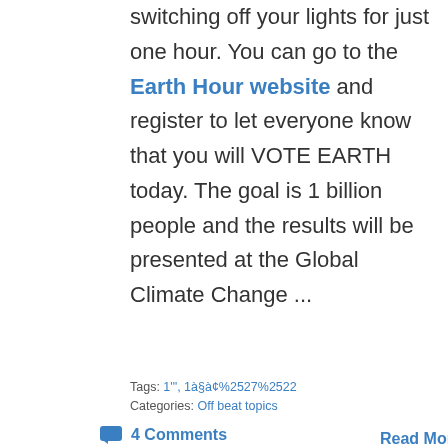switching off your lights for just one hour. You can go to the Earth Hour website and register to let everyone know that you will VOTE EARTH today. The goal is 1 billion people and the results will be presented at the Global Climate Change ...
Tags: 1'", 1à§à¢%2527%2522
Categories: Off beat topics
4 Comments
Read More ➡
[Figure (screenshot): Style selector dropdown showing '-- vB4 Default Style' in a teal/green footer bar]
All times are GMT. The time now is 01:52 AM.
Powered by vBulletin® Version 4.2.2
Copyright © 2022 vBulletin Solutions, Inc. All rights re...